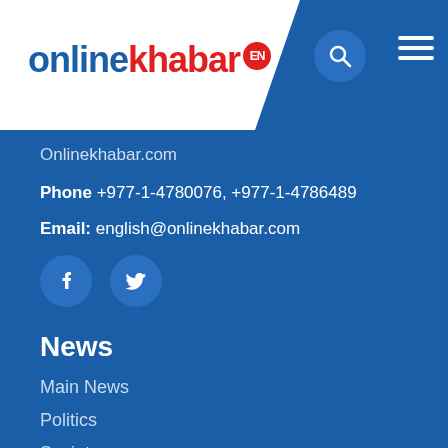[Figure (logo): onlinekhabar EN logo — 'online' in blue, 'khabar' in red, 'EN' in red circle]
Onlinekhabar.com
Phone +977-1-4780076, +977-1-4786489
Email: english@onlinekhabar.com
[Figure (other): Facebook and Twitter social media icon buttons (circular, dark blue)]
News
Main News
Politics
Society
Entertainment
Lifestyle